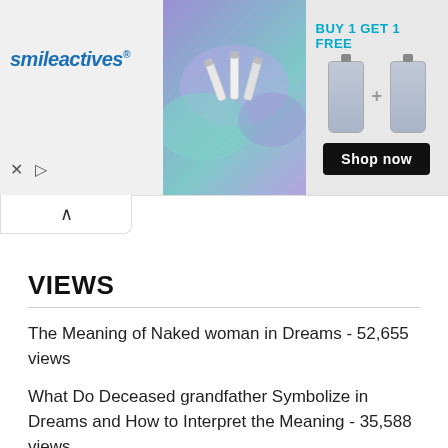[Figure (screenshot): Advertisement banner for smileactives with logo, product image showing whitening pens on purple/teal background, and 'BUY 1 GET 1 FREE' offer with Shop now button]
VIEWS
The Meaning of Naked woman in Dreams - 52,655 views
What Do Deceased grandfather Symbolize in Dreams and How to Interpret the Meaning - 35,588 views
The Meaning of denture, false tooth in Dreams - 25,422 views
What Do White Tiger Symbolize in Dreams and How to Interpret the Meaning - 17,894 views